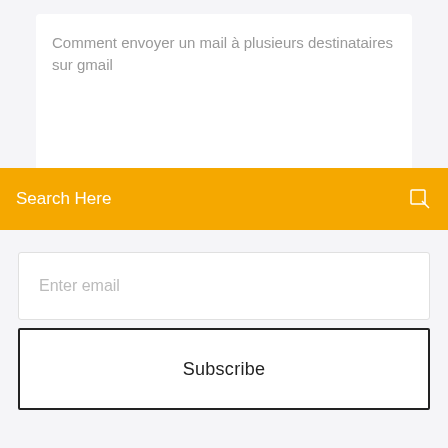Comment envoyer un mail à plusieurs destinataires sur gmail
Search Here
Enter email
Subscribe